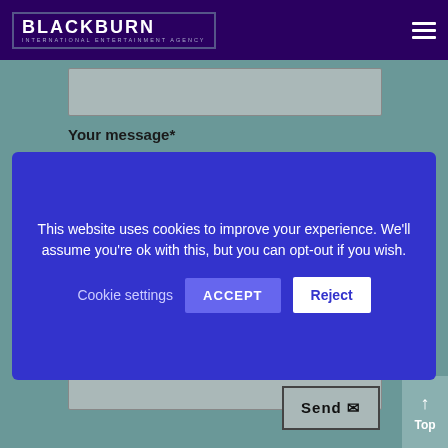BLACKBURN INTERNATIONAL ENTERTAINMENT AGENCY
Your message*
This website uses cookies to improve your experience. We'll assume you're ok with this, but you can opt-out if you wish.
Cookie settings
ACCEPT
Reject
Send
↑ Top